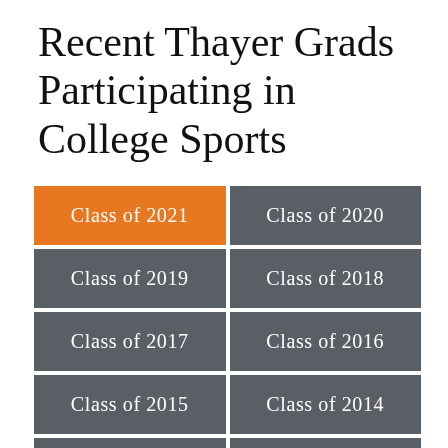Recent Thayer Grads Participating in College Sports
| Class of 2021 | Class of 2020 |
| Class of 2019 | Class of 2018 |
| Class of 2017 | Class of 2016 |
| Class of 2015 | Class of 2014 |
| Class of 2013 | Class of 2012 |